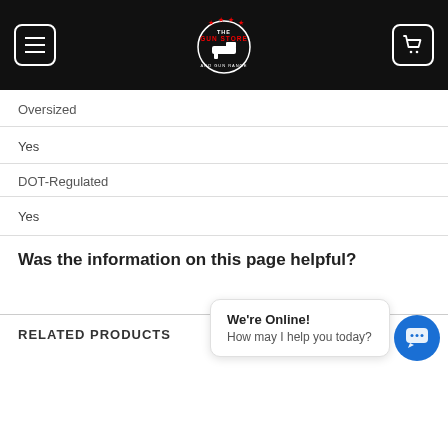The Gun Store — navigation bar with hamburger menu, logo, and cart icon
Oversized
Yes
DOT-Regulated
Yes
Was the information on this page helpful?
RELATED PRODUCTS
We're Online!
How may I help you today?